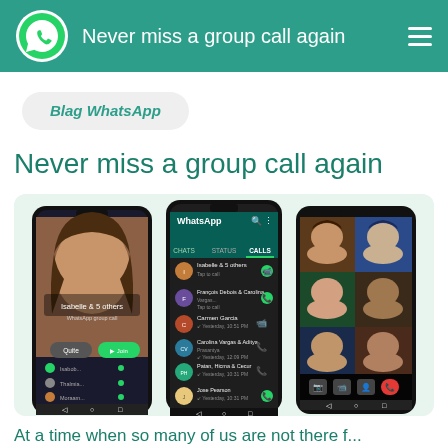Never miss a group call again
Blag WhatsApp
Never miss a group call again
[Figure (screenshot): Three smartphone screens showing WhatsApp group call features: left phone shows incoming group call from 'Isabelle & 5 others', middle phone shows WhatsApp calls list with contacts, right phone shows active group video call with 6 participants in a grid view.]
At a time when so many of us are not there f...